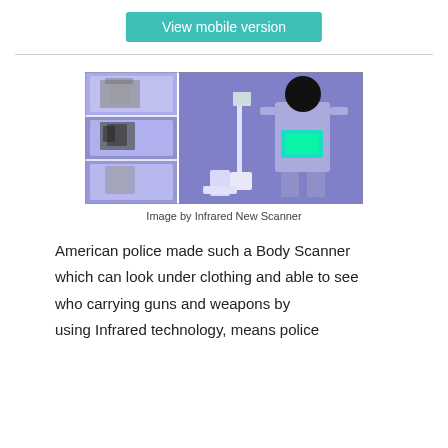View mobile version
[Figure (photo): Infrared body scanner images showing multiple views of a person and scanning equipment used by police to detect weapons under clothing.]
Image by Infrared New Scanner
American police made such a Body Scanner which can look under clothing and able to see who carrying guns and weapons by using Infrared technology, means police